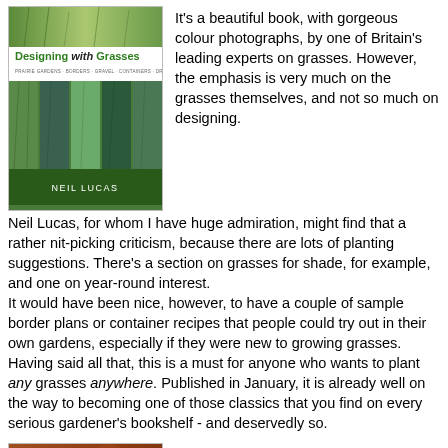[Figure (photo): Book cover of 'Designing with Grasses' by Neil Lucas, showing green grassy landscapes with multiple photo strips]
It's a beautiful book, with gorgeous colour photographs, by one of Britain's leading experts on grasses. However, the emphasis is very much on the grasses themselves, and not so much on designing.
Neil Lucas, for whom I have huge admiration, might find that a rather nit-picking criticism, because there are lots of planting suggestions. There's a section on grasses for shade, for example, and one on year-round interest.
It would have been nice, however, to have a couple of sample border plans or container recipes that people could try out in their own gardens, especially if they were new to growing grasses.
Having said all that, this is a must for anyone who wants to plant any grasses anywhere. Published in January, it is already well on the way to becoming one of those classics that you find on every serious gardener's bookshelf - and deservedly so.
[Figure (photo): Book cover of 'Designing with Conifers', showing reddish-brown foliage]
3. Designing with Conifers by